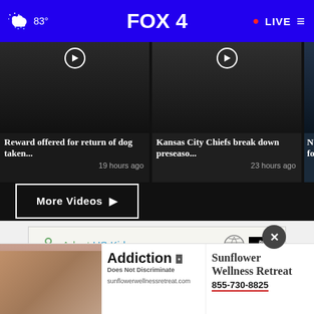83° FOX 4 LIVE
[Figure (screenshot): Video thumbnail 1: dark background with person, play button overlay, title 'Reward offered for return of dog taken...', timestamp '19 hours ago']
[Figure (screenshot): Video thumbnail 2: person in Kansas City Chiefs gear, play button overlay, title 'Kansas City Chiefs break down preseaso...', timestamp '23 hours ago']
[Figure (screenshot): Video thumbnail 3 (partially visible): 'Not mu follow' text visible]
More Videos ▶
[Figure (infographic): Adopt US Kids advertisement with HHS and Ad Council logos, quote text: "Everyone deserves a chance to feel like"]
[Figure (photo): Bottom overlay ad: Addiction Does Not Discriminate / Sunflower Wellness Retreat 855-730-8825 / sunflowerwellnessretreat.com, with close X button]